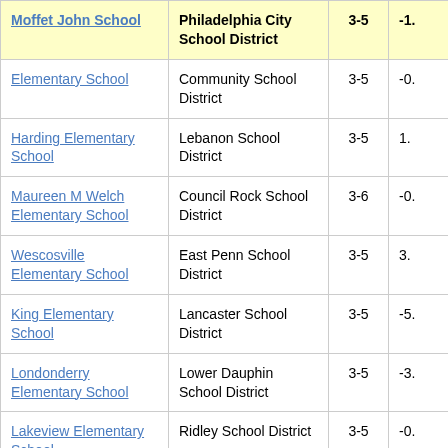| School | District | Grades | Value |
| --- | --- | --- | --- |
| Moffet John School | Philadelphia City School District | 3-5 | -1. |
| Elementary School | Community School District | 3-5 | -0. |
| Harding Elementary School | Lebanon School District | 3-5 | 1. |
| Maureen M Welch Elementary School | Council Rock School District | 3-6 | -0. |
| Wescosville Elementary School | East Penn School District | 3-5 | 3. |
| King Elementary School | Lancaster School District | 3-5 | -5. |
| Londonderry Elementary School | Lower Dauphin School District | 3-5 | -3. |
| Lakeview Elementary School | Ridley School District | 3-5 | -0. |
| March Elementary | Easton Area |  |  |